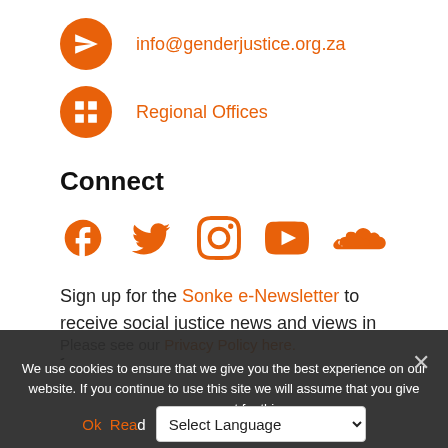info@genderjustice.org.za
Regional Offices
Connect
[Figure (infographic): Row of 5 orange social media icons: Facebook, Twitter, Instagram, YouTube, SoundCloud]
Sign up for the Sonke e-Newsletter to receive social justice news and views in your inbox.
Please see our Privacy Policy here.
We use cookies to ensure that we give you the best experience on our website. If you continue to use this site we will assume that you give your consent for this.
Ok  Read More